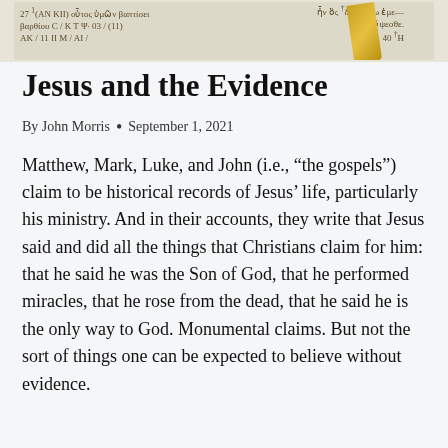[Figure (photo): Top strip showing a fragment of ancient Greek manuscript text with a gold/yellow ribbon or bookmark partially visible on the right side.]
Jesus and the Evidence
By John Morris  •  September 1, 2021
Matthew, Mark, Luke, and John (i.e., “the gospels”) claim to be historical records of Jesus’ life, particularly his ministry. And in their accounts, they write that Jesus said and did all the things that Christians claim for him: that he said he was the Son of God, that he performed miracles, that he rose from the dead, that he said he is the only way to God. Monumental claims. But not the sort of things one can be expected to believe without evidence.